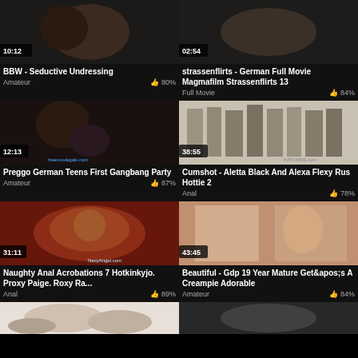[Figure (screenshot): Video thumbnail - BBW Seductive Undressing, duration 10:12]
BBW - Seductive Undressing
Amateur  👍 80%
[Figure (screenshot): Video thumbnail - strassenflirts German Full Movie Magmafilm Strassenflirts 13, duration 02:54]
strassenflirts - German Full Movie Magmafilm Strassenflirts 13
Full Movie  👍 84%
[Figure (screenshot): Video thumbnail - Preggo German Teens First Gangbang Party, duration 12:13]
Preggo German Teens First Gangbang Party
Amateur  👍 87%
[Figure (screenshot): Video thumbnail - Cumshot Aletta Black And Alexa Flexy Rus Hottie 2, duration 38:55]
Cumshot - Aletta Black And Alexa Flexy Rus Hottie 2
Anal  👍 78%
[Figure (screenshot): Video thumbnail - Naughty Anal Acrobations 7 Hotkinkyjo Proxy Paige Roxy Ra..., duration 31:11]
Naughty Anal Acrobations 7 Hotkinkyjo. Proxy Paige. Roxy Ra...
Anal  👍 89%
[Figure (screenshot): Video thumbnail - Beautiful Gdp 19 Year Mature Get&apos;s A Creampie Adorable, duration 43:45]
Beautiful - Gdp 19 Year Mature Get&apos;s A Creampie Adorable
Amateur  👍 84%
[Figure (screenshot): Video thumbnail row 4 left - partially visible]
[Figure (screenshot): Video thumbnail row 4 right - partially visible]